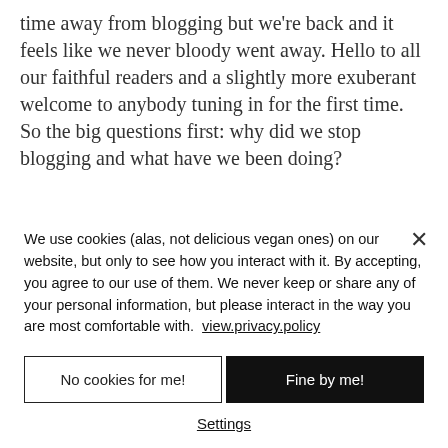time away from blogging but we're back and it feels like we never bloody went away. Hello to all our faithful readers and a slightly more exuberant welcome to anybody tuning in for the first time. So the big questions first: why did we stop blogging and what have we been doing?
We use cookies (alas, not delicious vegan ones) on our website, but only to see how you interact with it. By accepting, you agree to our use of them. We never keep or share any of your personal information, but please interact in the way you are most comfortable with. view.privacy.policy
No cookies for me!
Fine by me!
Settings